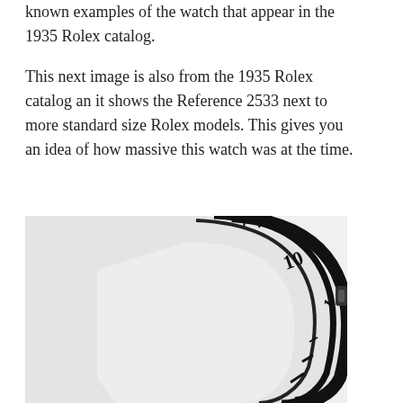known examples of the watch that appear in the 1935 Rolex catalog.
This next image is also from the 1935 Rolex catalog an it shows the Reference 2533 next to more standard size Rolex models. This gives you an idea of how massive this watch was at the time.
[Figure (photo): Black and white image from the 1935 Rolex catalog showing a partial view of a large watch (Reference 2533) with visible bezel, crown, and numerals, cropped so only the right portion of the watch face is visible against a light grey background.]